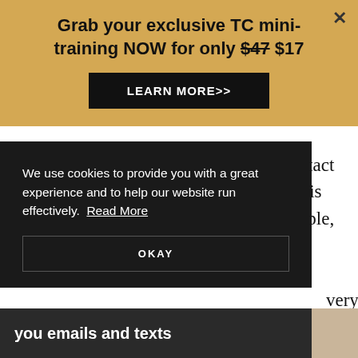Grab your exclusive TC mini-training NOW for only $47 $17
LEARN MORE>>
tasks to your workflow. Agents will contact you outside of business hours. Now, this isn't always a boundary issue. For example, they may send you a contract on the weekend but
very minute.
Monday
We use cookies to provide you with a great experience and to help our website run effectively. Read More
OKAY
you emails and texts